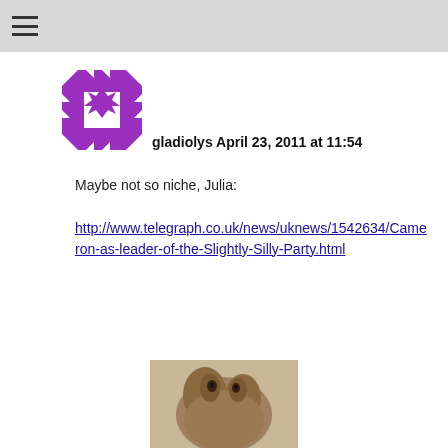☰
[Figure (illustration): Purple geometric pattern avatar/gravatar image with triangular quilt-like design forming a square border with star shape in the center]
gladiolys April 23, 2011 at 11:54
Maybe not so niche, Julia:
http://www.telegraph.co.uk/news/uknews/1542634/Cameron-as-leader-of-the-Slightly-Silly-Party.html
[Figure (photo): Partial photo of an animal (appears to be a sloth or similar creature) at the bottom of the page]